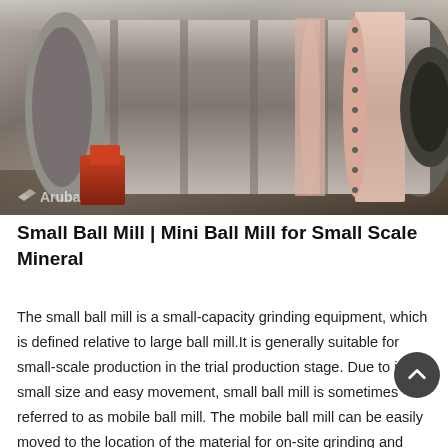[Figure (photo): Large cylindrical ball mill industrial grinding equipment lying horizontally in a factory/warehouse setting, with orange/red support machinery visible. Watermark 'Aruba' visible in lower left.]
Small Ball Mill | Mini Ball Mill for Small Scale Mineral
The small ball mill is a small-capacity grinding equipment, which is defined relative to large ball mill.It is generally suitable for small-scale production in the trial production stage. Due to its small size and easy movement, small ball mill is sometimes referred to as mobile ball mill. The mobile ball mill can be easily moved to the location of the material for on-site grinding and